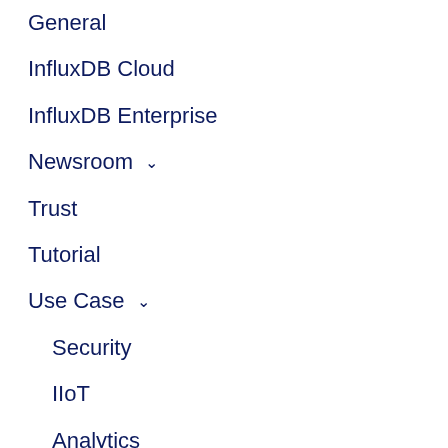General
InfluxDB Cloud
InfluxDB Enterprise
Newsroom ▾
Trust
Tutorial
Use Case ▾
Security
IIoT
Analytics
DevOps
IoT